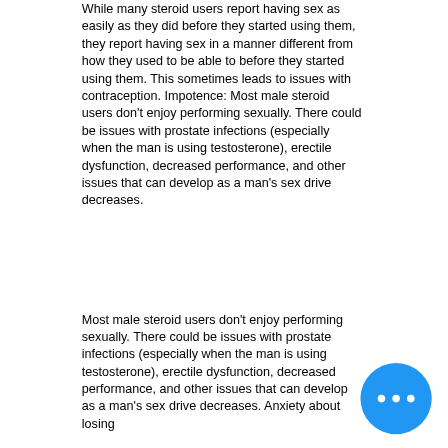While many steroid users report having sex as easily as they did before they started using them, they report having sex in a manner different from how they used to be able to before they started using them. This sometimes leads to issues with contraception. Impotence: Most male steroid users don't enjoy performing sexually. There could be issues with prostate infections (especially when the man is using testosterone), erectile dysfunction, decreased performance, and other issues that can develop as a man's sex drive decreases.
Most male steroid users don't enjoy performing sexually. There could be issues with prostate infections (especially when the man is using testosterone), erectile dysfunction, decreased performance, and other issues that can develop as a man's sex drive decreases. Anxiety about losing